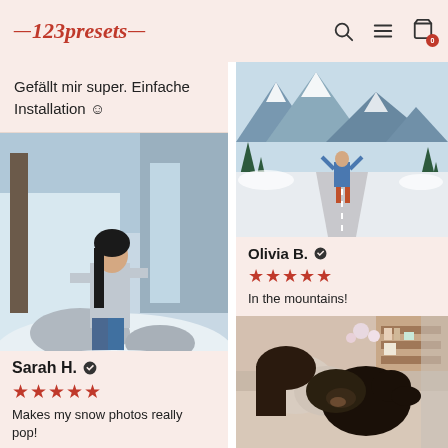123presets
Gefällt mir super. Einfache Installation ☺
[Figure (photo): Woman sitting on snowy rocks near a frozen waterfall, wearing a gray jacket and jeans]
Sarah H. ✔
★★★★★
Makes my snow photos really pop!
[Figure (photo): Person standing on a snowy road with arms raised, surrounded by snow-covered pine trees and mountains]
Olivia B. ✔
★★★★★
In the mountains!
[Figure (photo): Person hugging a dark curly-haired dog on a couch indoors]